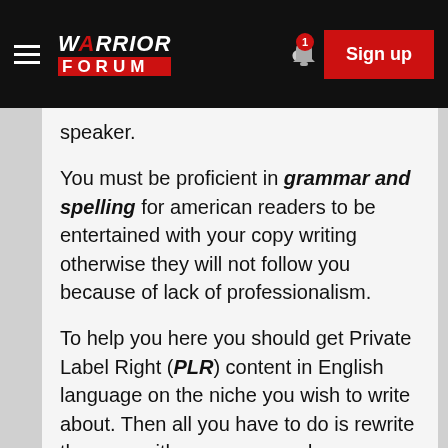Warrior Forum — Sign up
speaker.
You must be proficient in grammar and spelling for american readers to be entertained with your copy writing otherwise they will not follow you because of lack of professionalism.
To help you here you should get Private Label Right (PLR) content in English language on the niche you wish to write about. Then all you have to do is rewrite the copy with your own words.